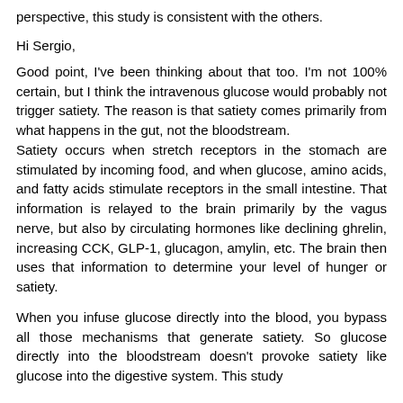perspective, this study is consistent with the others.
Hi Sergio,
Good point, I've been thinking about that too. I'm not 100% certain, but I think the intravenous glucose would probably not trigger satiety. The reason is that satiety comes primarily from what happens in the gut, not the bloodstream. Satiety occurs when stretch receptors in the stomach are stimulated by incoming food, and when glucose, amino acids, and fatty acids stimulate receptors in the small intestine. That information is relayed to the brain primarily by the vagus nerve, but also by circulating hormones like declining ghrelin, increasing CCK, GLP-1, glucagon, amylin, etc. The brain then uses that information to determine your level of hunger or satiety.
When you infuse glucose directly into the blood, you bypass all those mechanisms that generate satiety. So glucose directly into the bloodstream doesn't provoke satiety like glucose into the digestive system. This study demonstrates that by showing...